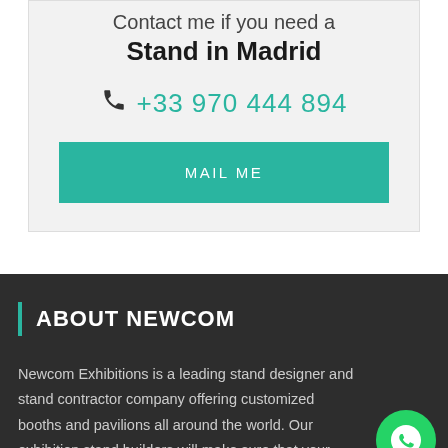Contact me if you need a Stand in Madrid
+33 970 444 894
MAIL ME
ABOUT NEWCOM
Newcom Exhibitions is a leading stand designer and stand contractor company offering customized booths and pavilions all around the world. Our exhibition stand builders will make sure that your stand is nota… achieves the objectives of your events and exhibitions. Investing in…